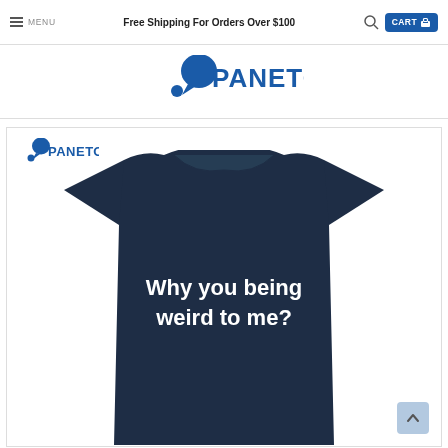MENU  Free Shipping For Orders Over $100  CART
[Figure (logo): Panetory logo with blue speech bubble and dot icons and bold blue PANETORY text]
[Figure (photo): Navy blue t-shirt with white text reading 'Why you being weird to me?' displayed on a product page with a small Panetory logo in the top left corner]